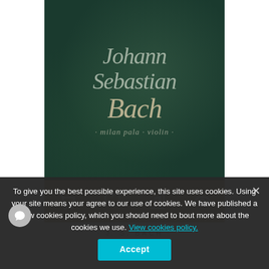[Figure (illustration): Album cover for Johann Sebastian Bach performed by Milan Pala - violin. Dark green textured background with ornate italic script text reading 'Johann Sebastian Bach' and 'milan pala - violin' at the bottom. Below the cover is a gold/tan bar with four icons: shopping cart, heart, bar chart, and eye.]
· J. S. BACH ·
To give you the best possible experience, this site uses cookies. Using your site means your agree to our use of cookies. We have published a new cookies policy, which you should need to bout more about the cookies we use. View cookies policy.
Accept